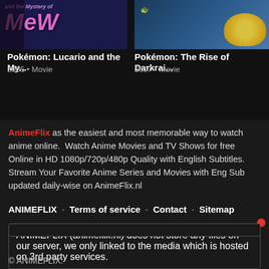[Figure (screenshot): Thumbnail for Pokémon: Lucario and the Mystery of Mew movie with stylized text]
[Figure (screenshot): Thumbnail for Pokémon: The Rise of Darkrai movie with Pikachu visible]
Pokémon: Lucario and the My...
2005 • Movie
Pokémon: The Rise of Darkrai...
2007 • Movie
AnimeFlix as the easiest and most memorable way to watch anime online.  Watch Anime Movies and TV Shows for free Online in HD 1080p/720p/480p Quality with English Subtitles. Stream Your Favorite Anime Series and Movies with Eng Sub updated daily-wise on AnimeFlix.nl
ANIMEFLIX  -  Terms of service  -  Contact  -  Sitemap
ANIMEFLIX (animeflix.nl) does not store any files on our server, we only linked to the media which is hosted on 3rd party services.
© ANIMEFLIX.